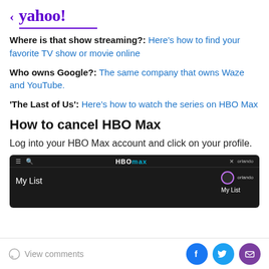< yahoo!
Where is that show streaming?: Here's how to find your favorite TV show or movie online
Who owns Google?: The same company that owns Waze and YouTube.
'The Last of Us': Here's how to watch the series on HBO Max
How to cancel HBO Max
Log into your HBO Max account and click on your profile.
[Figure (screenshot): Screenshot of HBO Max interface showing top navigation bar with hamburger menu, search icon, HBO Max logo, close button and username 'orlando'. Below shows 'My List' text on the left and a dropdown panel on the right with a circular avatar icon labeled 'orlando' and 'My List' option.]
View comments | Facebook | Twitter | Email